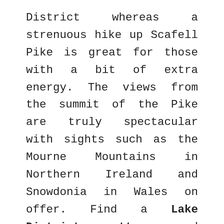District whereas a strenuous hike up Scafell Pike is great for those with a bit of extra energy. The views from the summit of the Pike are truly spectacular with sights such as the Mourne Mountains in Northern Ireland and Snowdonia in Wales on offer. Find a Lake District cottage and simply sit back and soak in your environment. There are very few places in the world that are as inspirational.
If none of these destinations are to your taste, then why not have a look at our website and find somewhere inspirational